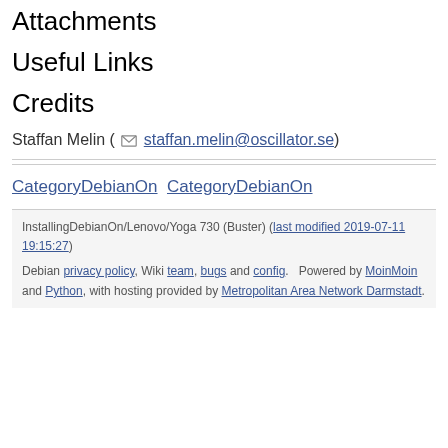Attachments
Useful Links
Credits
Staffan Melin ( staffan.melin@oscillator.se )
CategoryDebianOn CategoryDebianOn
InstallingDebianOn/Lenovo/Yoga 730 (Buster) (last modified 2019-07-11 19:15:27)
Debian privacy policy, Wiki team, bugs and config.   Powered by MoinMoin and Python, with hosting provided by Metropolitan Area Network Darmstadt.